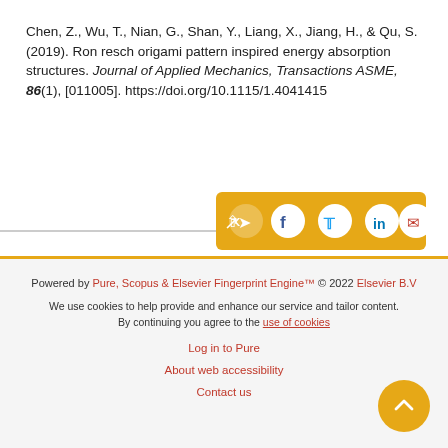Chen, Z., Wu, T., Nian, G., Shan, Y., Liang, X., Jiang, H., & Qu, S. (2019). Ron resch origami pattern inspired energy absorption structures. Journal of Applied Mechanics, Transactions ASME, 86(1), [011005]. https://doi.org/10.1115/1.4041415
[Figure (other): Social share button bar with golden/amber background containing share, Facebook, Twitter, LinkedIn, and email icons]
Powered by Pure, Scopus & Elsevier Fingerprint Engine™ © 2022 Elsevier B.V

We use cookies to help provide and enhance our service and tailor content. By continuing you agree to the use of cookies

Log in to Pure

About web accessibility

Contact us